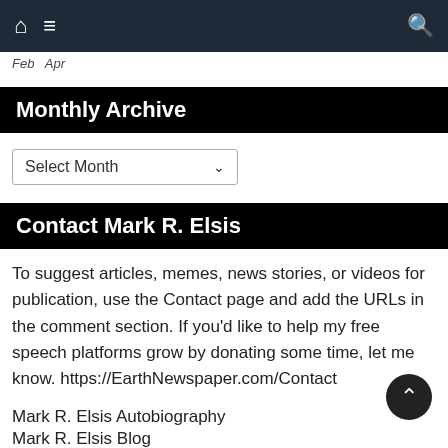Feb Apr
Monthly Archive
Select Month
Contact Mark R. Elsis
To suggest articles, memes, news stories, or videos for publication, use the Contact page and add the URLs in the comment section. If you'd like to help my free speech platforms grow by donating some time, let me know. https://EarthNewspaper.com/Contact
Mark R. Elsis Autobiography
Mark R. Elsis Blog